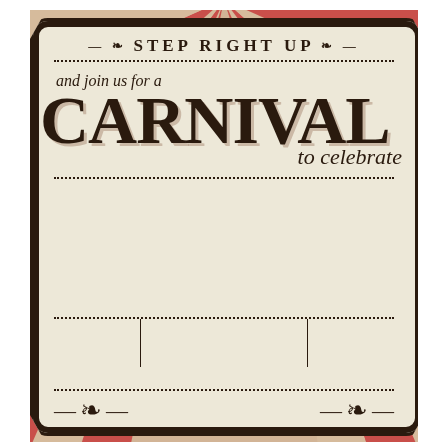[Figure (illustration): Vintage carnival invitation poster with red sunray background, ornate cream frame, decorative dotted border lines, and scrollwork ornaments.]
STEP RIGHT UP
and join us for a
CARNIVAL
to celebrate